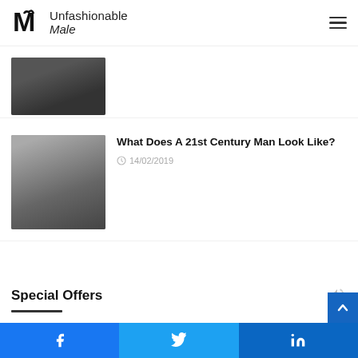Unfashionable Male
MAKING A POWERFUL INTRODUCTION WITH DEBUT SINGLE 'BURNING BRIDGES'
[Figure (photo): Partially visible thumbnail image at top, dark tones]
What Does A 21st Century Man Look Like?
14/02/2019
[Figure (photo): Man sitting against wooden wall with plants, dark clothing]
Special Offers
Facebook Twitter LinkedIn